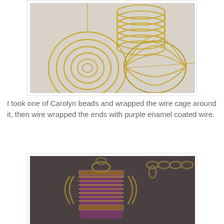[Figure (photo): Three golden wire cage bead forms on a light grey background. One shows a spiral/coil view from the front, one is a spiral disc shape, and one is a side view of the coiled cage.]
I took one of Carolyn beads and wrapped the wire cage around it, then wire wrapped the ends with purple enamel coated wire.
[Figure (photo): A purple enamel coated bead wrapped inside a golden wire cage, suspended on a bronze chain against a dark grey background.]